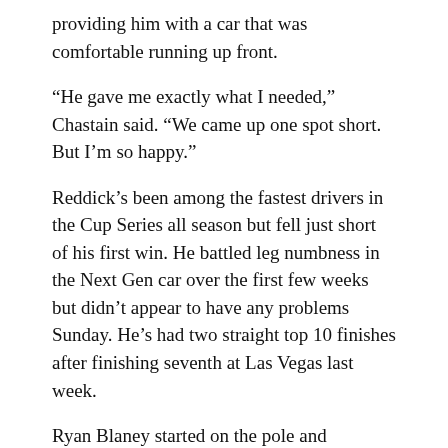providing him with a car that was comfortable running up front.
“He gave me exactly what I needed,” Chastain said. “We came up one spot short. But I’m so happy.”
Reddick’s been among the fastest drivers in the Cup Series all season but fell just short of his first win. He battled leg numbness in the Next Gen car over the first few weeks but didn’t appear to have any problems Sunday. He’s had two straight top 10 finishes after finishing seventh at Las Vegas last week.
Ryan Blaney started on the pole and dominated the first half of the race, winning the second stage after leading 138 of the first 185 laps. He settled for fourth. Kurt Busch was fifth.
Kyle Larson won the series championship last year after a fall victory at Phoenix, but engine trouble